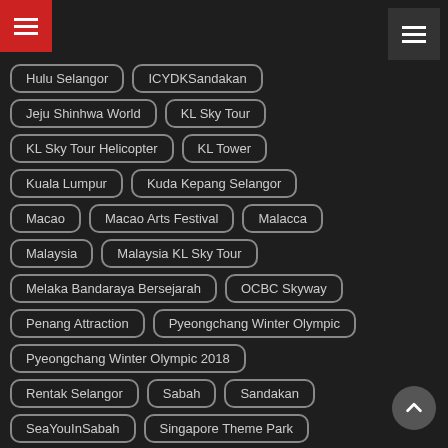Hulu Selangor
ICYDKSandakan
Jeju Shinhwa World
KL Sky Tour
KL Sky Tour Helicopter
KL Tower
Kuala Lumpur
Kuda Kepang Selangor
Macao
Macao Arts Festival
Malacca
Malaysia
Malaysia KL Sky Tour
Melaka Bandaraya Bersejarah
OCBC Skyway
Penang Attraction
Pyeongchang Winter Olympic
Pyeongchang Winter Olympic 2018
Rentak Selangor
Sabah
Sandakan
SeaYouInSabah
Singapore Theme Park
South Korea
South Korea Olympic